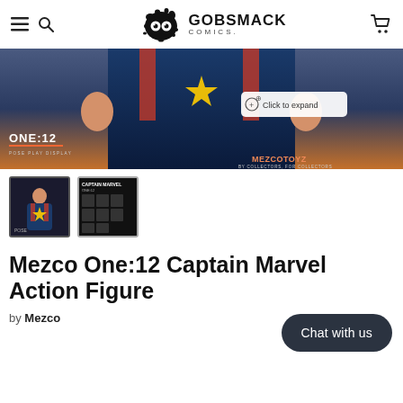Gobsmack Comics — navigation header with hamburger menu, search icon, logo, cart icon
[Figure (photo): Hero banner image showing torso of Captain Marvel action figure in blue/red costume against dramatic sky background. ONE:12 POSE PLAY DISPLAY badge on lower left. MEZCO TOYZ BY COLLECTORS, FOR COLLECTORS badge on lower right. 'Click to expand' button overlay.]
[Figure (photo): Thumbnail 1: Captain Marvel One:12 action figure standing pose on dark background]
[Figure (photo): Thumbnail 2: Captain Marvel product card/box art showing CAPTAIN MARVEL ONE:12 with accessories grid]
Mezco One:12 Captain Marvel Action Figure
by Mezco
Chat with us